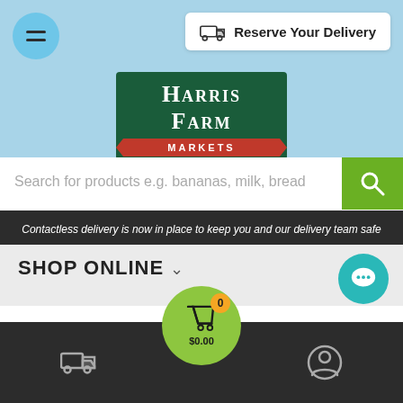[Figure (screenshot): Harris Farm Markets website screenshot showing navigation, logo, search bar, notice banner, shop online section, and breadcrumb navigation]
Reserve Your Delivery
Harris Farm Markets
Search for products e.g. bananas, milk, bread
Contactless delivery is now in place to keep you and our delivery team safe
SHOP ONLINE
Home / Promotions / Chia: The New Healthy Beverage You Should Give A G...
$0.00